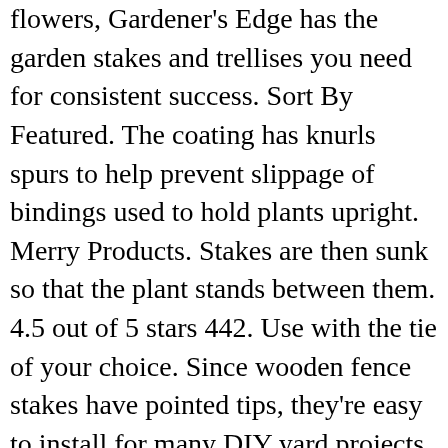flowers, Gardener's Edge has the garden stakes and trellises you need for consistent success. Sort By Featured. The coating has knurls spurs to help prevent slippage of bindings used to hold plants upright. Merry Products. Stakes are then sunk so that the plant stands between them. 4.5 out of 5 stars 442. Use with the tie of your choice. Since wooden fence stakes have pointed tips, they're easy to install for many DIY yard projects. Stakes are reusable. Sturdy support stake. Treated for ground contact. Wooden stakes are a staple for beginner-level and experienced gardeners. Alternatively, 2-by-2-inch wood stakes can also be used for twine trellising, tied to nails driven into the wood. From shop NeverforgottenStore $ 10.00. Pricing, promotions and availability may vary by location and at Target.com. See more ideas about fall crafts, scarecrow